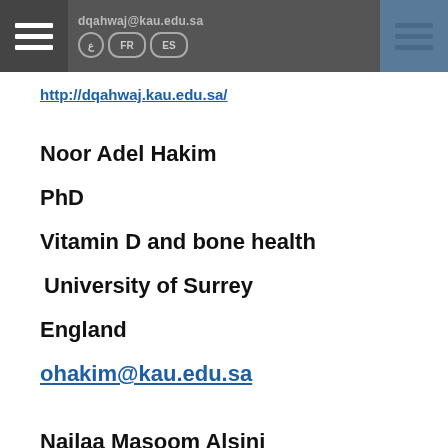dqahwaj@kau.edu.sa  FR  ES  [navigation menu]
http://dqahwaj.kau.edu.sa/
Noor Adel Hakim
PhD
Vitamin D and bone health
University of Surrey
England
ohakim@kau.edu.sa
Najlaa Masoom Alsini
PhD